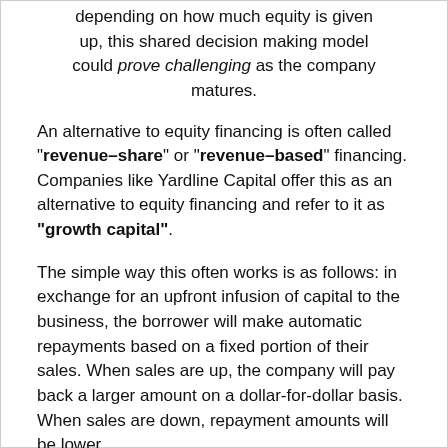depending on how much equity is given up, this shared decision making model could prove challenging as the company matures.
An alternative to equity financing is often called "revenue–share" or "revenue–based" financing. Companies like Yardline Capital offer this as an alternative to equity financing and refer to it as "growth capital".
The simple way this often works is as follows: in exchange for an upfront infusion of capital to the business, the borrower will make automatic repayments based on a fixed portion of their sales. When sales are up, the company will pay back a larger amount on a dollar-for-dollar basis. When sales are down, repayment amounts will be lower.
Here is a typical scenario of how this type of financing can help your business: If you're a profitable Amazon business and have a comfortable margin after COGS, marketing, platform fees, and other expenses like payroll, look at